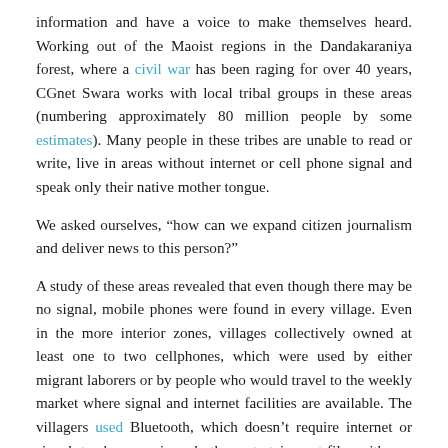information and have a voice to make themselves heard. Working out of the Maoist regions in the Dandakaraniya forest, where a civil war has been raging for over 40 years, CGnet Swara works with local tribal groups in these areas (numbering approximately 80 million people by some estimates). Many people in these tribes are unable to read or write, live in areas without internet or cell phone signal and speak only their native mother tongue.
We asked ourselves, “how can we expand citizen journalism and deliver news to this person?”
A study of these areas revealed that even though there may be no signal, mobile phones were found in every village. Even in the more interior zones, villages collectively owned at least one to two cellphones, which were used by either migrant laborers or by people who would travel to the weekly market where signal and internet facilities are available. The villagers used Bluetooth, which doesn’t require internet or signal, to share music and other entertainment files with one another back in their village (a phenomenon also noticed in the Taliban-held areas of Afghanistan). If people in these media dark zones were sharing music with each other through Bluetooth, why couldn’t they also